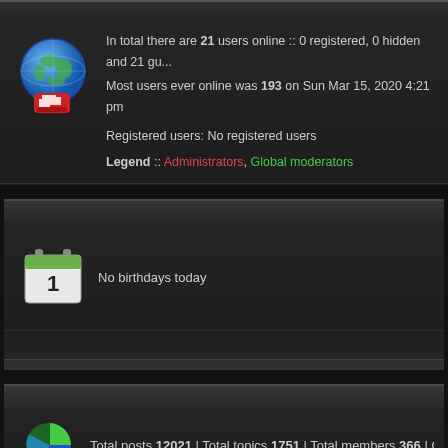In total there are 21 users online :: 0 registered, 0 hidden and 21 guests. Most users ever online was 193 on Sun Mar 15, 2020 4:21 pm
Registered users: No registered users
Legend :: Administrators, Global moderators
No birthdays today
Total posts 12021 | Total topics 1751 | Total members 366 | Our newest me...
Username: [input] Pas...